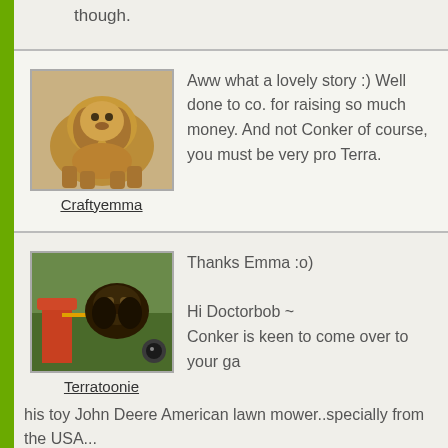though.
[Figure (photo): Avatar photo of a golden/brown cocker spaniel dog sitting on sandy ground]
Craftyemma
Aww what a lovely story :) Well done to co. for raising so much money. And not Conker of course, you must be very pro Terra.
[Figure (photo): Avatar photo of a dog (appears to be an Airedale Terrier) outdoors with a red toy John Deere lawn mower]
Terratoonie
Thanks Emma :o)

Hi Doctorbob ~
Conker is keen to come over to your ga his toy John Deere American lawn mower..specially from the USA...

The mower makes "real chugging sounds" and wher has finished cutting the grass, a recording inside the